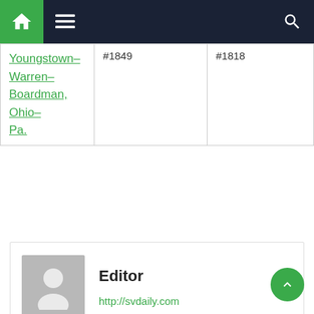Navigation bar with home, menu, and search icons
| Youngstown–Warren–Boardman, Ohio–Pa. | #1849 | #1818 |
Editor
http://svdaily.com
RELATED ARTICLES
News